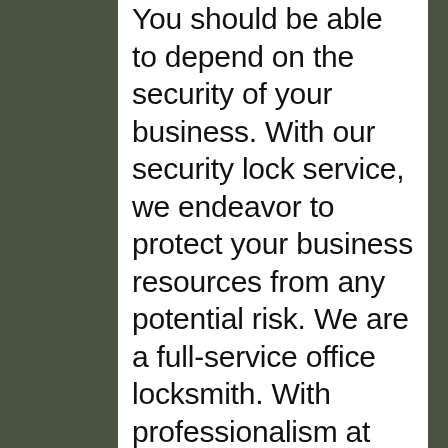You should be able to depend on the security of your business. With our security lock service, we endeavor to protect your business resources from any potential risk. We are a full-service office locksmith. With professionalism at the core of our operations, we strive to maintain the highest standards of quality in our commercial locksmith services. Whether you are looking to update your existing lock mechanisms or facing an emergency lockout, we are here to help you through every situation. We are highly specialized in commercial locking systems, including high-security locks, bio-metric systems, access control, re-keying, master key systems, and break-in repairs. We are available 24 hours a day to serve your